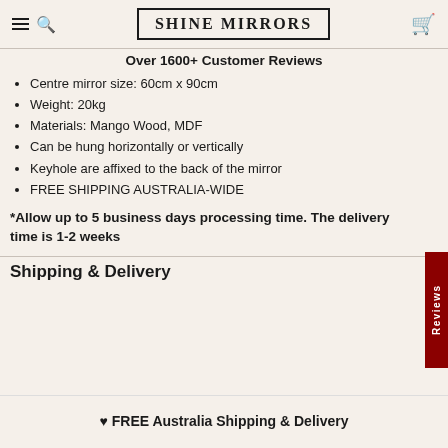SHINE MIRRORS
Over 1600+ Customer Reviews
Centre mirror size: 60cm x 90cm
Weight: 20kg
Materials: Mango Wood, MDF
Can be hung horizontally or vertically
Keyhole are affixed to the back of the mirror
FREE SHIPPING AUSTRALIA-WIDE
*Allow up to 5 business days processing time. The delivery time is 1-2 weeks
Shipping & Delivery
♥ FREE Australia Shipping & Delivery